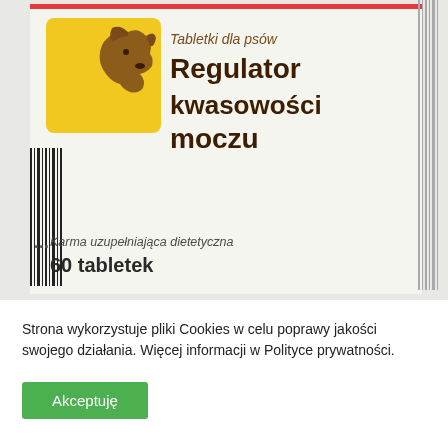[Figure (photo): Product packaging for 'Regulator kwasowości moczu' — urine acidity regulator tablets for dogs. White box with red top border, yellow square icon with brown dog silhouette (German Shepherd), barcode on left side and right edge. Text reads: 'Tabletki dla psów', 'Regulator kwasowości moczu', 'Karma uzupełniająca dietetyczna', '60 tabletek'.]
Strona wykorzystuje pliki Cookies w celu poprawy jakości swojego działania. Więcej informacji w Polityce prywatności.
Akceptuję